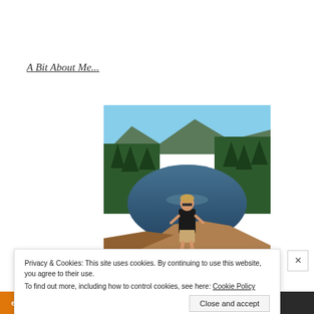A Bit About Me...
[Figure (photo): Woman standing on a rocky overlook in front of a mountain lake surrounded by dense coniferous forest on a sunny day]
Privacy & Cookies: This site uses cookies. By continuing to use this website, you agree to their use.
To find out more, including how to control cookies, see here: Cookie Policy
Close and accept
email with more privacy.